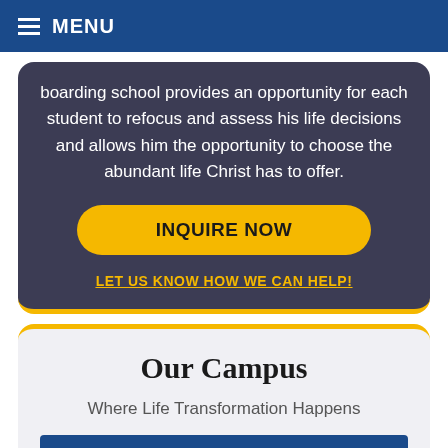MENU
boarding school provides an opportunity for each student to refocus and assess his life decisions and allows him the opportunity to choose the abundant life Christ has to offer.
INQUIRE NOW
LET US KNOW HOW WE CAN HELP!
Our Campus
Where Life Transformation Happens